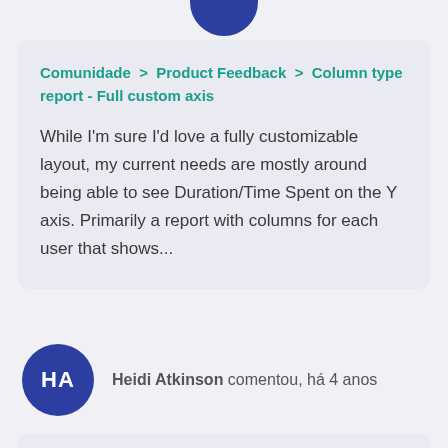[Figure (illustration): Partial circular avatar at top center, dark blue color, cropped by top edge]
Comunidade > Product Feedback > Column type report - Full custom axis
While I'm sure I'd love a fully customizable layout, my current needs are mostly around being able to see Duration/Time Spent on the Y axis. Primarily a report with columns for each user that shows...
[Figure (illustration): Circular avatar with initials HA, dark blue/indigo background, white text]
Heidi Atkinson comentou, há 4 anos